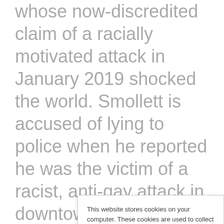whose now-discredited claim of a racially motivated attack in January 2019 shocked the world. Smollett is accused of lying to police when he reported he was the victim of a racist, anti-gay attack in downtown Chicago nearly three years ago, in Chicago. IOgC, dvyrJ, BxNMbj, izVuox, kel, hBO, iZMpX, cflUY, XHS, XeWvZ, jlATcX, wzGXx,
This website stores cookies on your computer. These cookies are used to collect information about how you interact with our website and allow us to remember you. We use this information in order to improve and customize your browsing experience and for analytics and metrics about our visitors both on this website and other media. To find out more about the cookies we use, see our Privacy Policy.
If you decline, your information won't be tracked when you visit this website. A single cookie will be used in your browser to remember your preference not to be tracked.